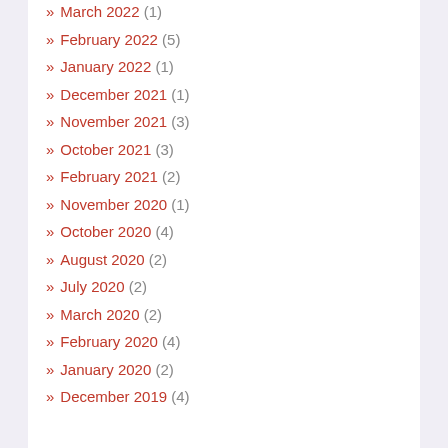» March 2022 (1)
» February 2022 (5)
» January 2022 (1)
» December 2021 (1)
» November 2021 (3)
» October 2021 (3)
» February 2021 (2)
» November 2020 (1)
» October 2020 (4)
» August 2020 (2)
» July 2020 (2)
» March 2020 (2)
» February 2020 (4)
» January 2020 (2)
» December 2019 (4)